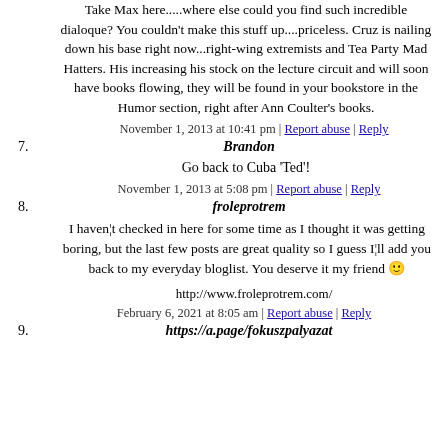Take Max here.....where else could you find such incredible dialoque? You couldn't make this stuff up....priceless. Cruz is nailing down his base right now...right-wing extremists and Tea Party Mad Hatters. His increasing his stock on the lecture circuit and will soon have books flowing, they will be found in your bookstore in the Humor section, right after Ann Coulter's books.
November 1, 2013 at 10:41 pm | Report abuse | Reply
7. Brandon
Go back to Cuba 'Ted'!
November 1, 2013 at 5:08 pm | Report abuse | Reply
8. froleprotrem
I haven¦t checked in here for some time as I thought it was getting boring, but the last few posts are great quality so I guess I¦ll add you back to my everyday bloglist. You deserve it my friend 🙂
http://www.froleprotrem.com/
February 6, 2021 at 8:05 am | Report abuse | Reply
9. https://a.page/fokuszpalyazat